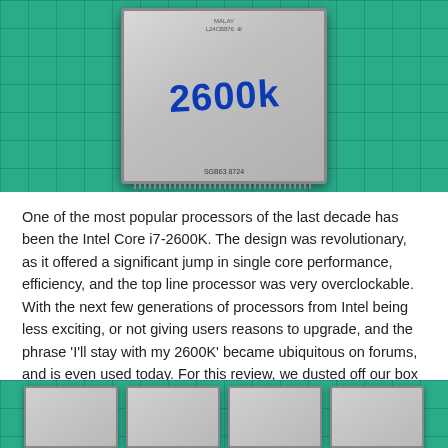[Figure (photo): Photo of an Intel Core i7-2600K CPU with '2600k' written in blue marker on the heat spreader, placed on a green cutting mat background.]
One of the most popular processors of the last decade has been the Intel Core i7-2600K. The design was revolutionary, as it offered a significant jump in single core performance, efficiency, and the top line processor was very overclockable. With the next few generations of processors from Intel being less exciting, or not giving users reasons to upgrade, and the phrase 'I'll stay with my 2600K' became ubiquitous on forums, and is even used today. For this review, we dusted off our box of old CPUs and put it in for a run through our 2019 benchmarks, both at stock and overclocked, to see if it is still a mainstream champion.
[Figure (photo): Photo of four Intel CPUs laid out in a row on a green cutting mat, showing their metallic heat spreaders from above.]